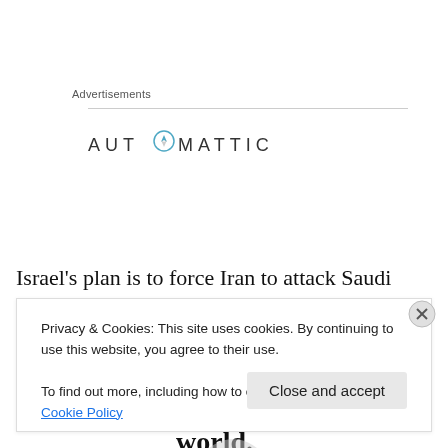Advertisements
[Figure (logo): Automattic logo with compass icon in the letter O, followed by ad text 'Build a better web and a better world.']
Israel's plan is to force Iran to attack Saudi Arabia, close
Privacy & Cookies: This site uses cookies. By continuing to use this website, you agree to their use.
To find out more, including how to control cookies, see here: Cookie Policy
Close and accept